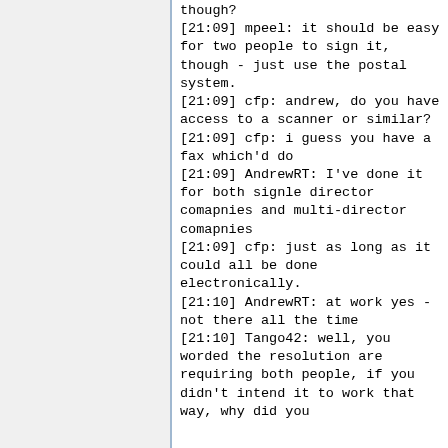though?
[21:09] mpeel: it should be easy for two people to sign it, though - just use the postal system.
[21:09] cfp: andrew, do you have access to a scanner or similar?
[21:09] cfp: i guess you have a fax which'd do
[21:09] AndrewRT: I've done it for both signle director comapnies and multi-director comapnies
[21:09] cfp: just as long as it could all be done electronically.
[21:10] AndrewRT: at work yes - not there all the time
[21:10] Tango42: well, you worded the resolution are requiring both people, if you didn't intend it to work that way, why did you